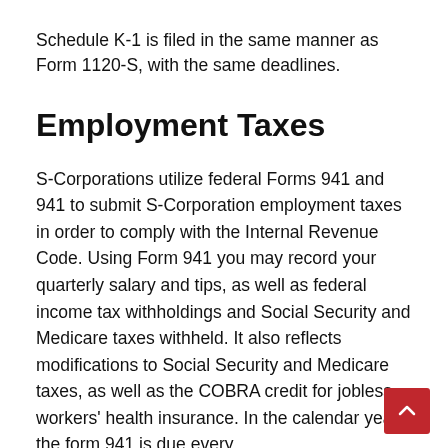Schedule K-1 is filed in the same manner as Form 1120-S, with the same deadlines.
Employment Taxes
S-Corporations utilize federal Forms 941 and 941 to submit S-Corporation employment taxes in order to comply with the Internal Revenue Code. Using Form 941 you may record your quarterly salary and tips, as well as federal income tax withholdings and Social Security and Medicare taxes withheld. It also reflects modifications to Social Security and Medicare taxes, as well as the COBRA credit for jobless workers' health insurance. In the calendar year, the form 941 is due every